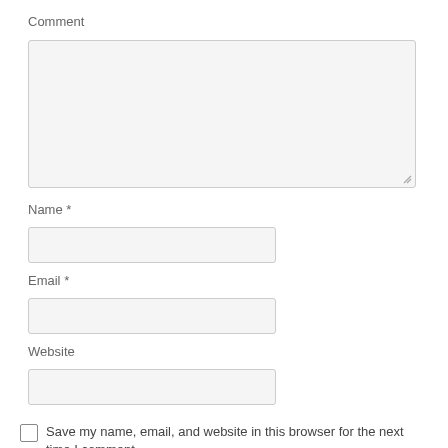Comment
[Figure (screenshot): Large comment textarea input box, light gray background, with resize handle at bottom-right]
Name *
[Figure (screenshot): Name text input field, light gray background]
Email *
[Figure (screenshot): Email text input field, light gray background]
Website
[Figure (screenshot): Website text input field, light gray background]
Save my name, email, and website in this browser for the next time I comment.
Post Comment